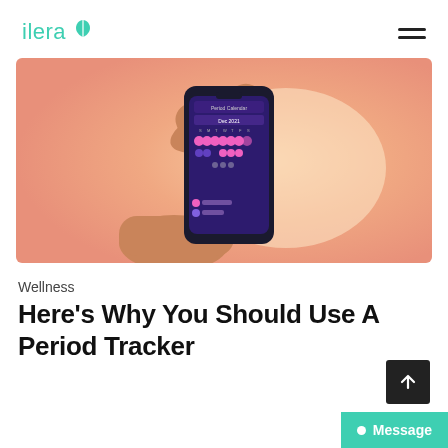ilera (logo with leaf icon) | hamburger menu
[Figure (photo): Two hands holding a smartphone displaying a period tracking calendar app with pink and purple dots on a dark purple interface, against a warm peach/orange gradient background.]
Wellness
Here’s Why You Should Use A Period Tracker